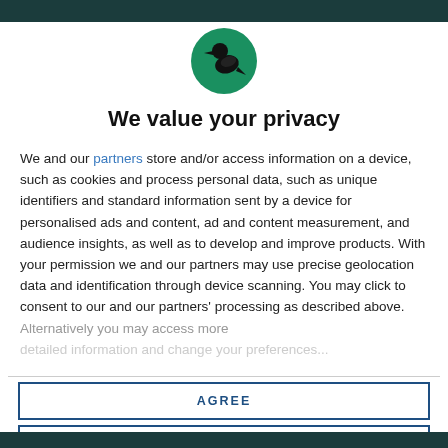[Figure (logo): Circular green logo with a black silhouette of a bird (crow/raven) facing right]
We value your privacy
We and our partners store and/or access information on a device, such as cookies and process personal data, such as unique identifiers and standard information sent by a device for personalised ads and content, ad and content measurement, and audience insights, as well as to develop and improve products. With your permission we and our partners may use precise geolocation data and identification through device scanning. You may click to consent to our and our partners' processing as described above. Alternatively you may access more detailed information...
AGREE
MORE OPTIONS